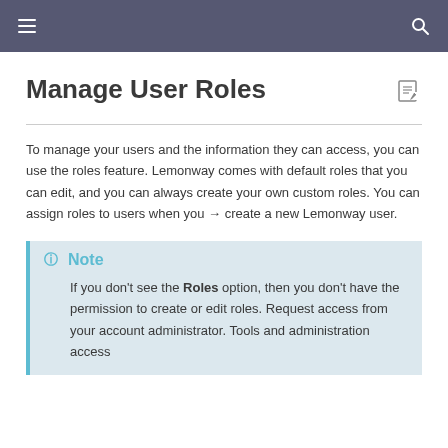☰ [navigation bar with hamburger menu and search icon]
Manage User Roles
To manage your users and the information they can access, you can use the roles feature. Lemonway comes with default roles that you can edit, and you can always create your own custom roles. You can assign roles to users when you → create a new Lemonway user.
Note
If you don't see the Roles option, then you don't have the permission to create or edit roles. Request access from your account administrator. Tools and administration access